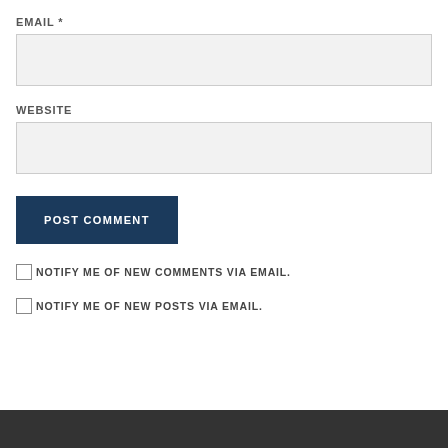EMAIL *
WEBSITE
POST COMMENT
NOTIFY ME OF NEW COMMENTS VIA EMAIL.
NOTIFY ME OF NEW POSTS VIA EMAIL.